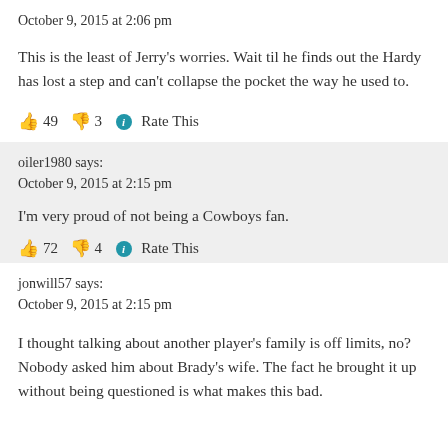October 9, 2015 at 2:06 pm
This is the least of Jerry's worries. Wait til he finds out the Hardy has lost a step and can't collapse the pocket the way he used to.
👍 49 👎 3 ℹ Rate This
oiler1980 says:
October 9, 2015 at 2:15 pm
I'm very proud of not being a Cowboys fan.
👍 72 👎 4 ℹ Rate This
jonwill57 says:
October 9, 2015 at 2:15 pm
I thought talking about another player's family is off limits, no? Nobody asked him about Brady's wife. The fact he brought it up without being questioned is what makes this bad.